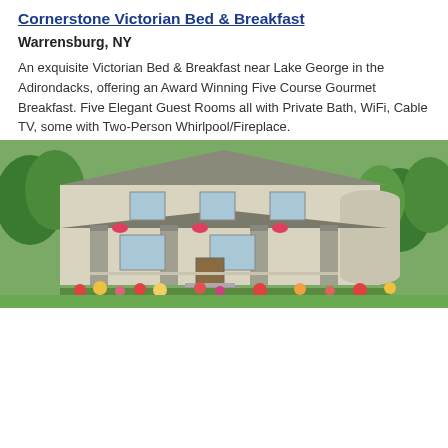[Figure (photo): Exterior photo of Cornerstone Victorian Bed & Breakfast, a large Victorian house with a wraparound porch, stone columns, and colorful flower gardens in front.]
Cornerstone Victorian Bed & Breakfast
Warrensburg, NY
An exquisite Victorian Bed & Breakfast near Lake George in the Adirondacks, offering an Award Winning Five Course Gourmet Breakfast. Five Elegant Guest Rooms all with Private Bath, WiFi, Cable TV, some with Two-Person Whirlpool/Fireplace.
[Figure (photo): Exterior of the inn at saratoga - small broken image placeholder]
The Inn at Saratoga